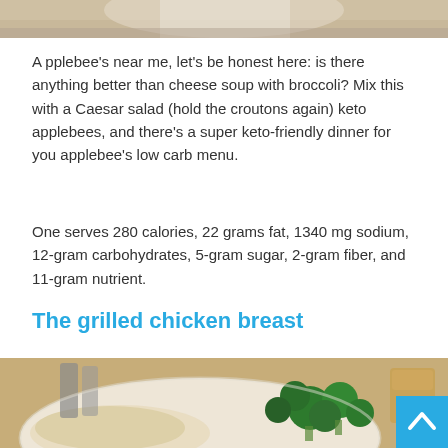[Figure (photo): Top portion of a food photo, showing a bowl or plate, cropped at the top of the page]
Applebee's near me, let's be honest here: is there anything better than cheese soup with broccoli? Mix this with a Caesar salad (hold the croutons again) keto applebees, and there's a super keto-friendly dinner for you applebee's low carb menu.
One serves 280 calories, 22 grams fat, 1340 mg sodium, 12-gram carbohydrates, 5-gram sugar, 2-gram fiber, and 11-gram nutrient.
The grilled chicken breast
[Figure (photo): Photo of a plate with grilled chicken or pasta salad and broccoli florets on a wooden table with condiment shakers and a drink in the background]